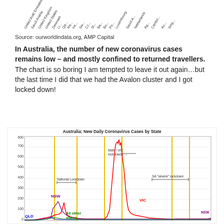[Figure (other): Partial top strip of a bar/line chart showing rotated country name labels on x-axis (United Arab Emirates, Saudi Arabia, United Kingdom, United States, Denmark, Libya, etc.)]
Source: ourworldindata.org, AMP Capital
In Australia, the number of new coronavirus cases remains low – and mostly confined to returned travellers. The chart is so boring I am tempted to leave it out again…but the last time I did that we had the Avalon cluster and I got locked down!
[Figure (line-chart): Line chart showing new daily coronavirus cases by state in Australia. Y-axis 0-800. Shows peaks for NSW (~200), VIC (~725 large second wave), QLD low, All other states low. Vertical yellow lines mark lockdown periods. Annotations: National Lockdown, Melb/VIC lockdowns, SA severe lockdown. Series: VIC (red), NSW (purple), QLD (blue), All other states (green).]